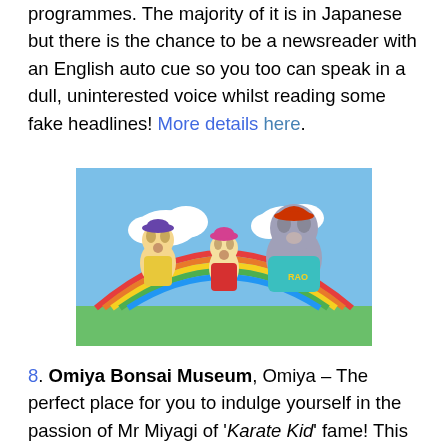programmes. The majority of it is in Japanese but there is the chance to be a newsreader with an English auto cue so you too can speak in a dull, uninterested voice whilst reading some fake headlines! More details here.
[Figure (photo): Three cartoon character mascots in costume standing in front of a colorful rainbow backdrop. Left: a yellow dog in green overalls and purple beret. Middle: a smaller dog in red dress and pink beret. Right: a large grey hippo-like character in teal and orange outfit with 'RAO' on the shirt.]
8. Omiya Bonsai Museum, Omiya – The perfect place for you to indulge yourself in the passion of Mr Miyagi of 'Karate Kid' fame! This place has been open since 2010 and has displays of bonsai at stunning, chiefly beautiful...